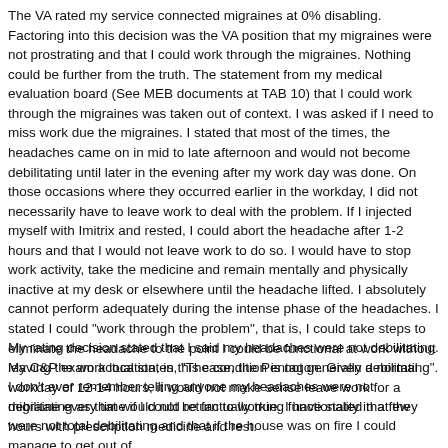The VA rated my service connected migraines at 0% disabling. Factoring into this decision was the VA position that my migraines were not prostrating and that I could work through the migraines. Nothing could be further from the truth. The statement from my medical evaluation board (See MEB documents at TAB 10) that I could work through the migraines was taken out of context. I was asked if I need to miss work due the migraines. I stated that most of the times, the headaches came on in mid to late afternoon and would not become debilitating until later in the evening after my work day was done. On those occasions where they occurred earlier in the workday, I did not necessarily have to leave work to deal with the problem. If I injected myself with Imitrix and rested, I could abort the headache after 1-2 hours and that I would not leave work to do so. I would have to stop work activity, take the medicine and remain mentally and physically inactive at my desk or elsewhere until the headache lifted. I absolutely cannot perform adequately during the intense phase of the headaches. I stated I could "work through the problem", that is, I could take steps to eliminate the headache to the point I could be functional at work without leaving the work location, in this case, the Pentagon. Given a normal workday of 12-14 hours, it would not make sense leave work for a migraine every time if I could return to working functionality in a few hours with prescription medicine and rest.
My rating decision stated that I said my headaches were not debilitating. My C&P exam actual states, "The condition is not generally debilitating". I don't ever remember telling anyone my headaches were not debilitating as that would not be factually true. I have stated that they were not total debilitating and that if the house was on fire I could manage to get out of